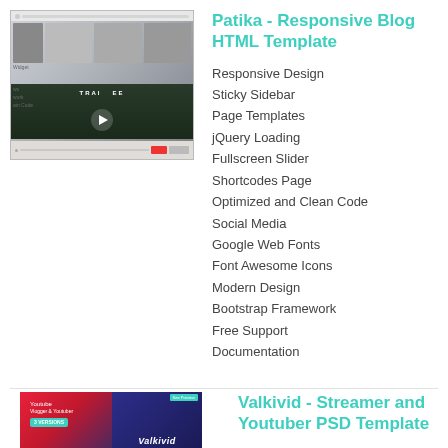[Figure (screenshot): Screenshot of Patika Responsive Blog HTML Template preview showing a blog layout with header, featured image with forest/trail video overlay, and sidebar widgets.]
Patika - Responsive Blog HTML Template
Responsive Design
Sticky Sidebar
Page Templates
jQuery Loading
Fullscreen Slider
Shortcodes Page
Optimized and Clean Code
Social Media
Google Web Fonts
Font Awesome Icons
Modern Design
Bootstrap Framework
Free Support
Documentation
[Figure (screenshot): Screenshot of Valkivid - Streamer and Youtuber PSD Template preview showing red and dark blue design with Youtube branding and Valkivid logo.]
Valkivid - Streamer and Youtuber PSD Template